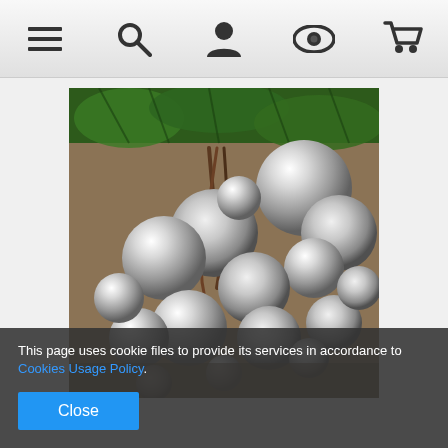[Figure (screenshot): Website navigation bar with icons: hamburger menu, search, user/profile, eye/view, and shopping cart]
[Figure (photo): Silver metallic ball ornaments bundled together with brown twine, set against a burlap surface with green pine foliage in the background]
This page uses cookie files to provide its services in accordance to Cookies Usage Policy.
Close